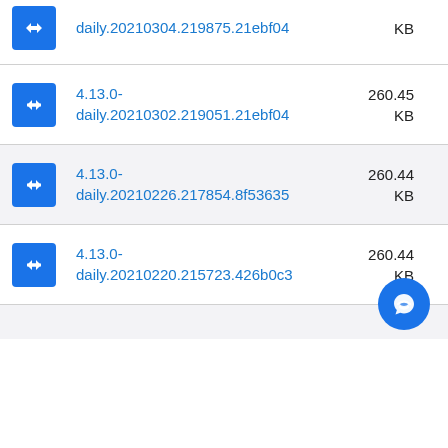daily.20210304.219875.21ebf04  KB
4.13.0-daily.20210302.219051.21ebf04  260.45 KB
4.13.0-daily.20210226.217854.8f53635  260.44 KB
4.13.0-daily.20210220.215723.426b0c3  260.44 KB